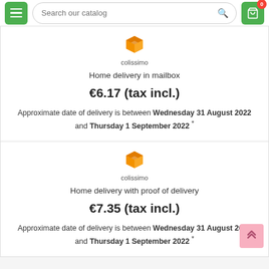Search our catalog | 0 cart items
[Figure (logo): Colissimo orange box logo with text 'colissimo']
Home delivery in mailbox
€6.17 (tax incl.)
Approximate date of delivery is between Wednesday 31 August 2022 and Thursday 1 September 2022 *
[Figure (logo): Colissimo orange box logo with text 'colissimo']
Home delivery with proof of delivery
€7.35 (tax incl.)
Approximate date of delivery is between Wednesday 31 August 2022 and Thursday 1 September 2022 *